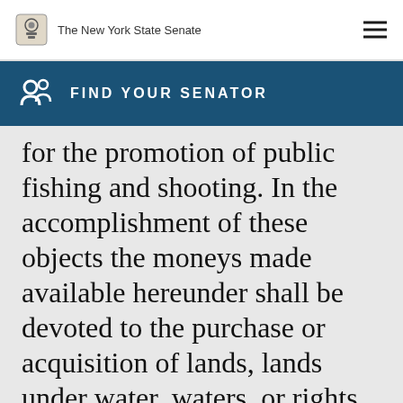The New York State Senate
FIND YOUR SENATOR
for the promotion of public fishing and shooting. In the accomplishment of these objects the moneys made available hereunder shall be devoted to the purchase or acquisition of lands, lands under water, waters, or rights therein as required, to payment for personal service, for maintenance and operation, and for new construction and permanent betterments, and to all other proper